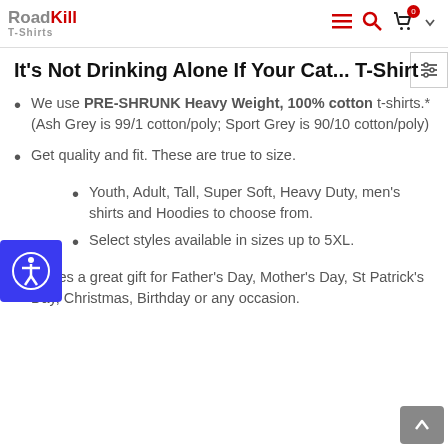RoadKill T-Shirts — navigation header with hamburger menu, search, cart (0), chevron
It's Not Drinking Alone If Your Cat... T-Shirt
We use PRE-SHRUNK Heavy Weight, 100% cotton t-shirts.* (Ash Grey is 99/1 cotton/poly; Sport Grey is 90/10 cotton/poly)
Get quality and fit. These are true to size.
Youth, Adult, Tall, Super Soft, Heavy Duty, men's shirts and Hoodies to choose from.
Select styles available in sizes up to 5XL.
Makes a great gift for Father's Day, Mother's Day, St Patrick's Day, Christmas, Birthday or any occasion.